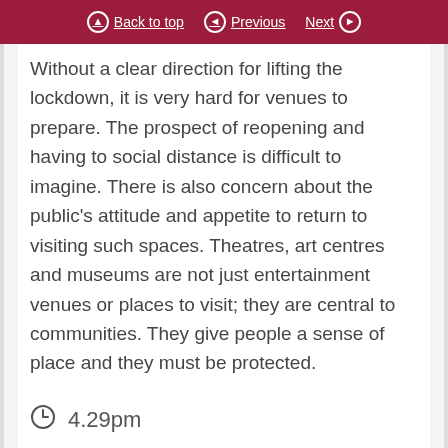Back to top | Previous | Next
Without a clear direction for lifting the lockdown, it is very hard for venues to prepare. The prospect of reopening and having to social distance is difficult to imagine. There is also concern about the public's attitude and appetite to return to visiting such spaces. Theatres, art centres and museums are not just entertainment venues or places to visit; they are central to communities. They give people a sense of place and they must be protected.
4.29pm
Lord German
(LD)